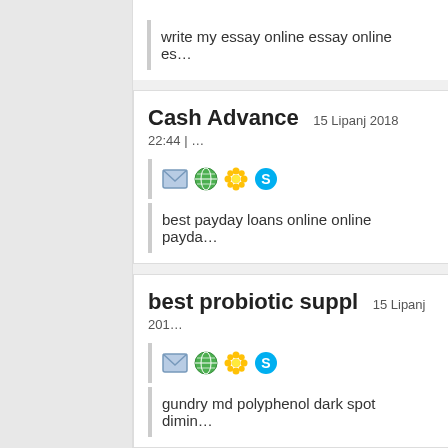write my essay online essay online es…
Cash Advance   15 Lipanj 2018 22:44 | …
best payday loans online online payda…
best probiotic suppl   15 Lipanj 201…
gundry md polyphenol dark spot dimin…
insurance   15 Lipanj 2018 22:23 | USA